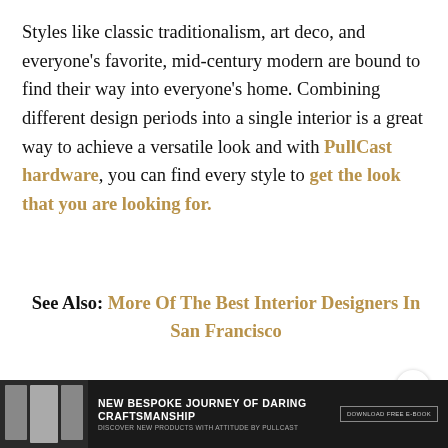Styles like classic traditionalism, art deco, and everyone's favorite, mid-century modern are bound to find their way into everyone's home. Combining different design periods into a single interior is a great way to achieve a versatile look and with PullCast hardware, you can find every style to get the look that you are looking for.
See Also: More Of The Best Interior Designers In San Francisco
Did you like our article How To Decorate With Jewelry
[Figure (other): Advertisement banner at the bottom: dark background with product images on the left, text 'NEW BESPOKE JOURNEY OF DARING CRAFTSMANSHIP' and 'DISCOVER NEW PRODUCTS WITH ATTITUDE BY PULLCAST', and a download button on the right.]